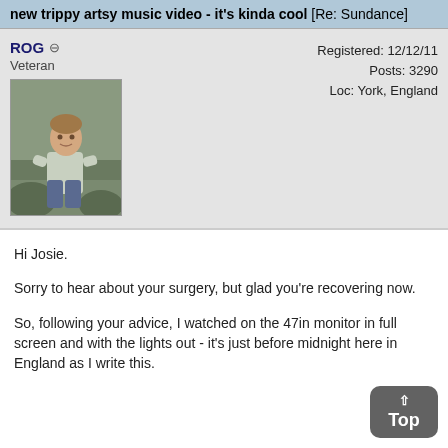new trippy artsy music video - it's kinda cool [Re: Sundance]
ROG
Veteran
Registered: 12/12/11
Posts: 3290
Loc: York, England
[Figure (photo): Profile photo of a man sitting outdoors]
Hi Josie.

Sorry to hear about your surgery, but glad you're recovering now.

So, following your advice, I watched on the 47in monitor in full screen and with the lights out - it's just before midnight here in England as I write this.